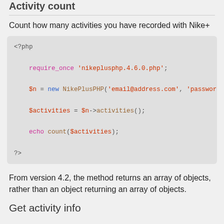Activity count
Count how many activities you have recorded with Nike+
[Figure (screenshot): PHP code block showing: <?php require_once 'nikeplusphp.4.6.0.php'; $n = new NikePlusPHP('email@address.com', 'password') $activities = $n->activities(); echo count($activities); ?>]
From version 4.2, the method returns an array of objects, rather than an object returning an array of objects.
Get activity info